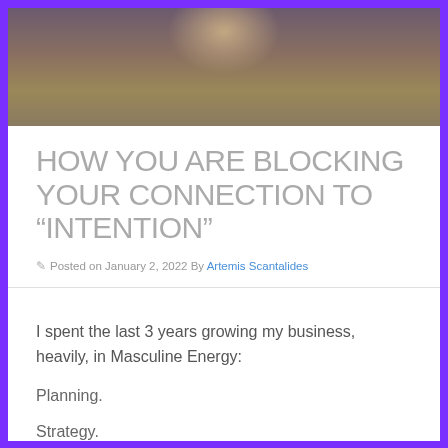[Figure (photo): A person sitting on a road in yoga/stretching pose, wearing blue shorts, photographed from above at dusk with a blurred road perspective]
HOW YOU ARE BLOCKING YOUR CONNECTION TO “INTENTION”
✏ Posted on January 2, 2022 By Artemis Scantalides
I spent the last 3 years growing my business, heavily, in Masculine Energy:
Planning.
Strategy.